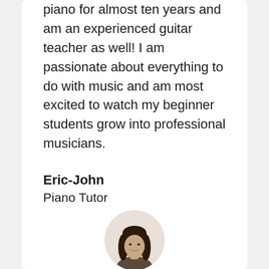piano for almost ten years and am an experienced guitar teacher as well! I am passionate about everything to do with music and am most excited to watch my beginner students grow into professional musicians.
Eric-John
Piano Tutor
[Figure (photo): Circular portrait photo of a person with long dark hair, smiling slightly, shown from the shoulders up against a light background.]